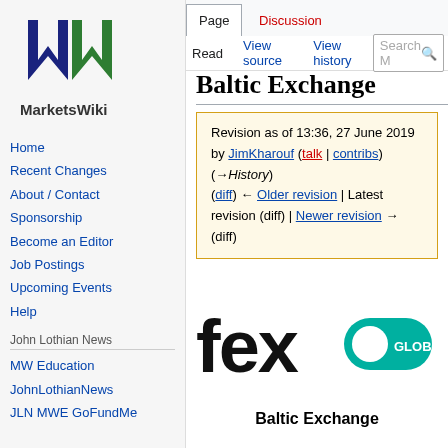Log in
[Figure (logo): MarketsWiki logo — blue and green stylized MW letters above the text MarketsWiki]
Home
Recent Changes
About / Contact
Sponsorship
Become an Editor
Job Postings
Upcoming Events
Help
John Lothian News
MW Education
JohnLothianNews
JLN MWE GoFundMe
Baltic Exchange
Revision as of 13:36, 27 June 2019 by JimKharouf (talk | contribs) (→History) (diff) ← Older revision | Latest revision (diff) | Newer revision → (diff)
[Figure (logo): fex GLOBAL logo — bold black lowercase 'fex' text with a teal rounded rectangle containing 'GLOBAL' text]
Baltic Exchange